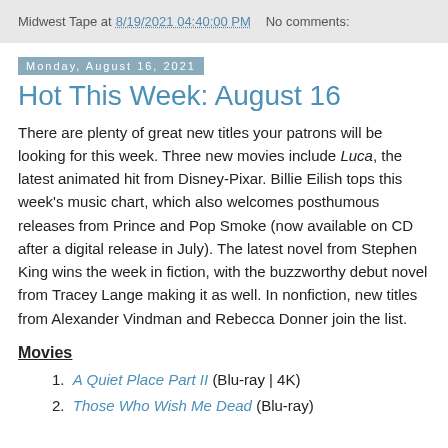Midwest Tape at 8/19/2021 04:40:00 PM    No comments:
Monday, August 16, 2021
Hot This Week: August 16
There are plenty of great new titles your patrons will be looking for this week. Three new movies include Luca, the latest animated hit from Disney-Pixar. Billie Eilish tops this week's music chart, which also welcomes posthumous releases from Prince and Pop Smoke (now available on CD after a digital release in July). The latest novel from Stephen King wins the week in fiction, with the buzzworthy debut novel from Tracey Lange making it as well. In nonfiction, new titles from Alexander Vindman and Rebecca Donner join the list.
Movies
A Quiet Place Part II (Blu-ray | 4K)
Those Who Wish Me Dead (Blu-ray)